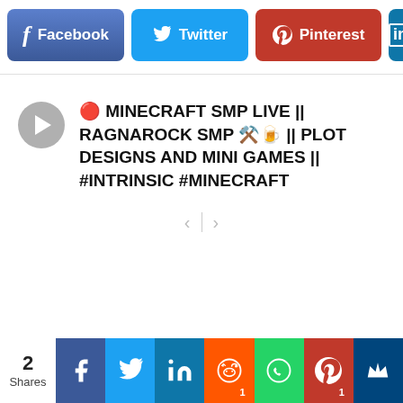[Figure (screenshot): Social share buttons bar at top: Facebook (blue-purple), Twitter (light blue), Pinterest (red), LinkedIn (blue, partially cut off)]
🔴 MINECRAFT SMP LIVE || RAGNAROCK SMP 🔨🍺 || PLOT DESIGNS AND MINI GAMES || #INTRINSIC #MINECRAFT
[Figure (screenshot): Bottom social share bar with count '2 Shares': Facebook, Twitter, LinkedIn, Reddit (1), WhatsApp, Pinterest (1), Crown icons]
2
Shares